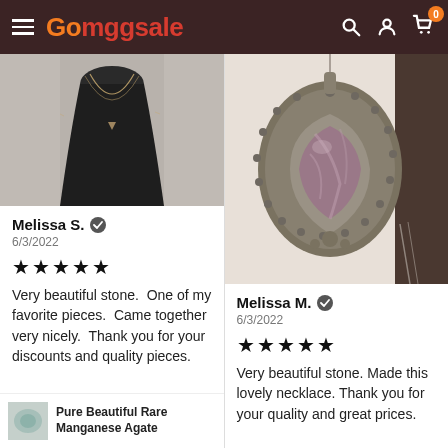Gomggsale
[Figure (photo): Photo of a gold necklace on a black velvet display bust]
Melissa S. ✓
6/3/2022
★★★★★
Very beautiful stone.  One of my favorite pieces.  Came together very nicely.  Thank you for your discounts and quality pieces.
[Figure (photo): Photo of an ornate silver pendant with a purple/pink stone]
Melissa M. ✓
6/3/2022
★★★★★
Very beautiful stone. Made this lovely necklace. Thank you for your quality and great prices.
[Figure (photo): Thumbnail of Pure Beautiful Rare Manganese Agate product]
Pure Beautiful Rare Manganese Agate